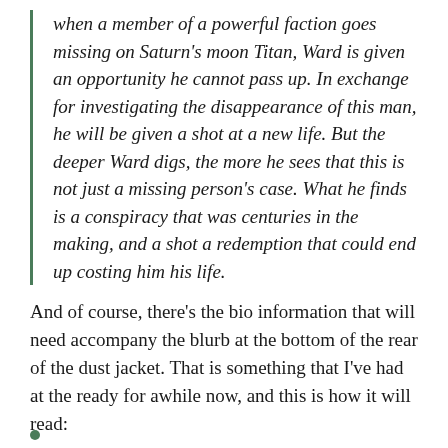when a member of a powerful faction goes missing on Saturn's moon Titan, Ward is given an opportunity he cannot pass up. In exchange for investigating the disappearance of this man, he will be given a shot at a new life. But the deeper Ward digs, the more he sees that this is not just a missing person's case. What he finds is a conspiracy that was centuries in the making, and a shot a redemption that could end up costing him his life.
And of course, there's the bio information that will need accompany the blurb at the bottom of the rear of the dust jacket. That is something that I've had at the ready for awhile now, and this is how it will read: